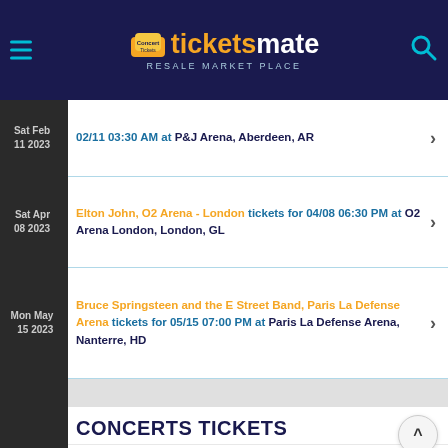ticketsmate RESALE MARKET PLACE
Sat Feb 11 2023 — 02/11 03:30 AM at P&J Arena, Aberdeen, AR
Sat Apr 08 2023 — Elton John, O2 Arena - London tickets for 04/08 06:30 PM at O2 Arena London, London, GL
Mon May 15 2023 — Bruce Springsteen and the E Street Band, Paris La Defense Arena tickets for 05/15 07:00 PM at Paris La Defense Arena, Nanterre, HD
CONCERTS TICKETS
50s 60s ERA Tickets